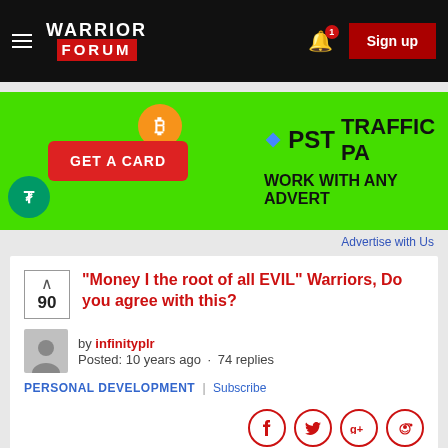Warrior Forum — Sign up
[Figure (infographic): Advertisement banner: green background with bitcoin and tether coin icons, red GET A CARD button, PST TRAFFIC PA... text, WORK WITH ANY ADVERT... text]
Advertise with Us
"Money I the root of all EVIL" Warriors, Do you agree with this?
by infinityplr
Posted: 10 years ago · 74 replies
PERSONAL DEVELOPMENT | Subscribe